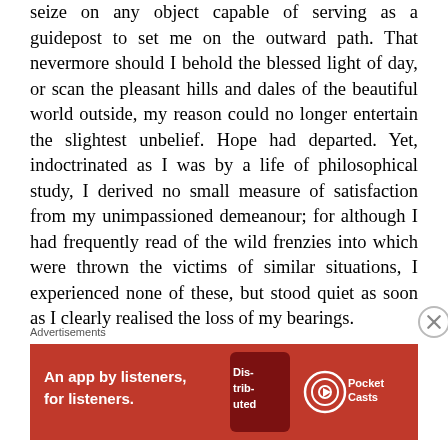seize on any object capable of serving as a guidepost to set me on the outward path. That nevermore should I behold the blessed light of day, or scan the pleasant hills and dales of the beautiful world outside, my reason could no longer entertain the slightest unbelief. Hope had departed. Yet, indoctrinated as I was by a life of philosophical study, I derived no small measure of satisfaction from my unimpassioned demeanour; for although I had frequently read of the wild frenzies into which were thrown the victims of similar situations, I experienced none of these, but stood quiet as soon as I clearly realised the loss of my bearings.
Nor did the thought that I had probably wandered beyond the utmost limits of an ordinary
[Figure (other): Advertisement banner: red background with white text 'An app by listeners, for listeners.' and Pocket Casts logo with a stylized book/podcast graphic]